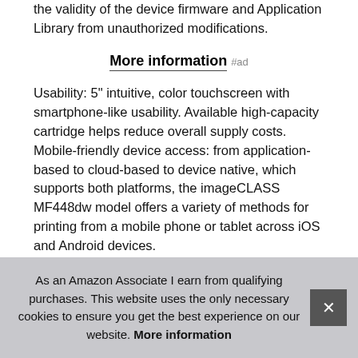the validity of the device firmware and Application Library from unauthorized modifications.
More information #ad
Usability: 5" intuitive, color touchscreen with smartphone-like usability. Available high-capacity cartridge helps reduce overall supply costs. Mobile-friendly device access: from application-based to cloud-based to device native, which supports both platforms, the imageCLASS MF448dw model offers a variety of methods for printing from a mobile phone or tablet across iOS and Android devices.
Designed for small print jobs with first-print time as fast as 5 3 se risk sto com
As an Amazon Associate I earn from qualifying purchases. This website uses the only necessary cookies to ensure you get the best experience on our website. More information